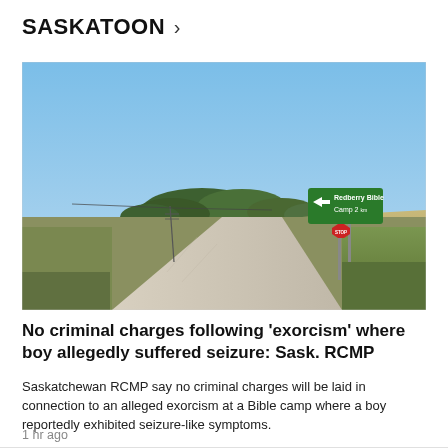SASKATOON >
[Figure (photo): Gravel road in rural Saskatchewan under a blue sky, with a green road sign pointing left reading 'Redberry Bible Camp 2 km' and a red stop sign in the background. Fields and trees visible on the horizon.]
No criminal charges following 'exorcism' where boy allegedly suffered seizure: Sask. RCMP
Saskatchewan RCMP say no criminal charges will be laid in connection to an alleged exorcism at a Bible camp where a boy reportedly exhibited seizure-like symptoms.
1 hr ago